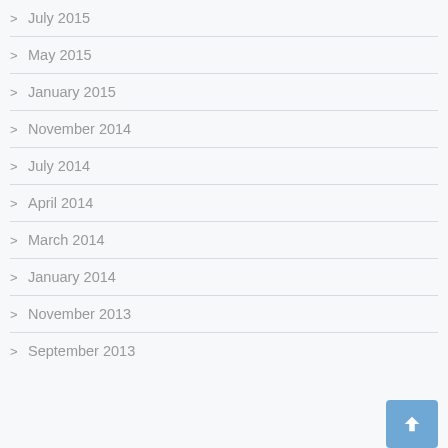July 2015
May 2015
January 2015
November 2014
July 2014
April 2014
March 2014
January 2014
November 2013
September 2013